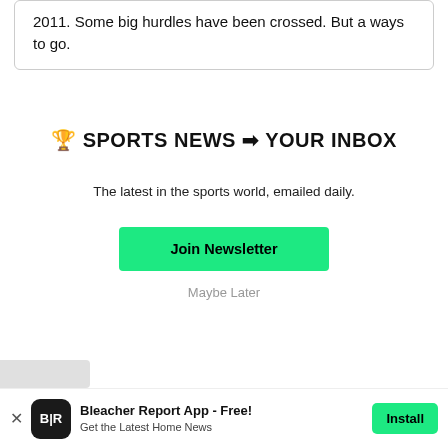2011. Some big hurdles have been crossed. But a ways to go.
🏆 SPORTS NEWS ➡ YOUR INBOX
The latest in the sports world, emailed daily.
Join Newsletter
Maybe Later
[Figure (other): Gray strip partially visible at bottom left]
Bleacher Report App - Free! Get the Latest Home News | Install